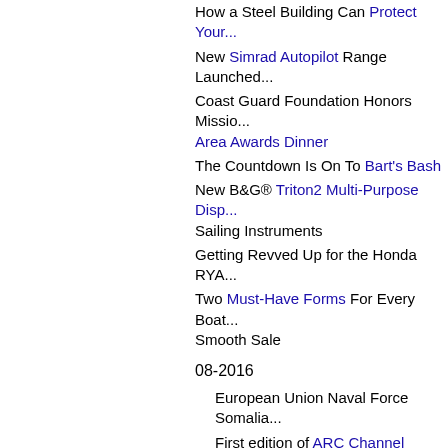How a Steel Building Can Protect Your...
New Simrad Autopilot Range Launched...
Coast Guard Foundation Honors Mission... Area Awards Dinner
The Countdown Is On To Bart's Bash
New B&G® Triton2 Multi-Purpose Display... Sailing Instruments
Getting Revved Up for the Honda RYA...
Two Must-Have Forms For Every Boat... Smooth Sale
08-2016
European Union Naval Force Somalia...
First edition of ARC Channel Islands cr... community
It Doesn't Take a Hurricane to Sink a B...
Coast Guard Foundation Announces 20...
The Green Blue Supports Call on UK G... in Cosmetics
Coast Guard Foundation Announces 12... 2016
ITC Bolsters Ban on Garmin® DownVü...
5 Pet Blunders We Made While Boating...
iNavX Launches In App Charts and Ma...